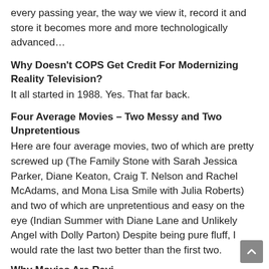every passing year, the way we view it, record it and store it becomes more and more technologically advanced…
Why Doesn't COPS Get Credit For Modernizing Reality Television?
It all started in 1988. Yes. That far back.
Four Average Movies – Two Messy and Two Unpretentious
Here are four average movies, two of which are pretty screwed up (The Family Stone with Sarah Jessica Parker, Diane Keaton, Craig T. Nelson and Rachel McAdams, and Mona Lisa Smile with Julia Roberts) and two of which are unpretentious and easy on the eye (Indian Summer with Diane Lane and Unlikely Angel with Dolly Parton) Despite being pure fluff, I would rate the last two better than the first two.
Why Movies Are Revi…